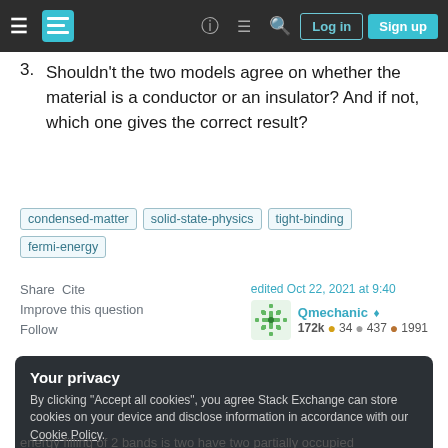Stack Exchange navigation bar with hamburger menu, logo, help, chat, search, Log in, Sign up
3. Shouldn't the two models agree on whether the material is a conductor or an insulator? And if not, which one gives the correct result?
condensed-matter   solid-state-physics   tight-binding   fermi-energy
Share   Cite
Improve this question
Follow
edited Oct 22, 2021 at 9:40
Qmechanic ◆
172k ● 34 ● 437 ● 1991
Your privacy
By clicking "Accept all cookies", you agree Stack Exchange can store cookies on your device and disclose information in accordance with our Cookie Policy.
Accept all cookies   Customize settings
energy filling of 2 bands is two have two partially occupied